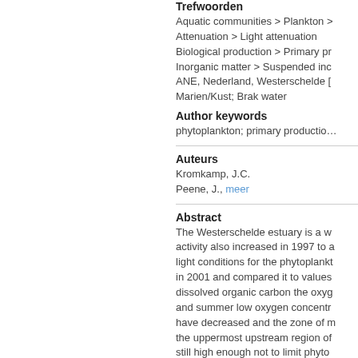Trefwoorden
Aquatic communities > Plankton > Attenuation > Light attenuation
Biological production > Primary pr
Inorganic matter > Suspended inc
ANE, Nederland, Westerschelde [Marien/Kust; Brak water
Author keywords
phytoplankton; primary productio…
Auteurs
Kromkamp, J.C.
Peene, J., meer
Abstract
The Westerschelde estuary is a w activity also increased in 1997 to a light conditions for the phytoplankt in 2001 and compared it to values dissolved organic carbon the oxy and summer low oxygen concentr have decreased and the zone of m the uppermost upstream region o still high enough not to limit phyto a result phytoplankton biomass in upstream region phytoplankton bi between phytoplankton biomass a dredging activity will not influence